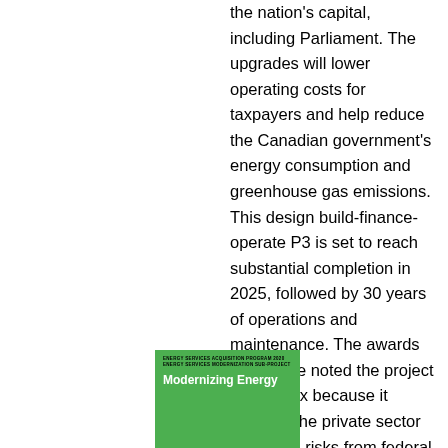the nation's capital, including Parliament. The upgrades will lower operating costs for taxpayers and help reduce the Canadian government's energy consumption and greenhouse gas emissions. This design build-finance-operate P3 is set to reach substantial completion in 2025, followed by 30 years of operations and maintenance. The awards committee noted the project is complex because it involves the private sector mitigating risks from federal
[Figure (illustration): Green book cover with small text at top reading 'ENERGY SERVICES ACQUISITION PROGRAM 2020 ENERGY SERVICES MODERNIZATION SUB-PROJECT' and larger white bold text reading 'Modernizing Energy']